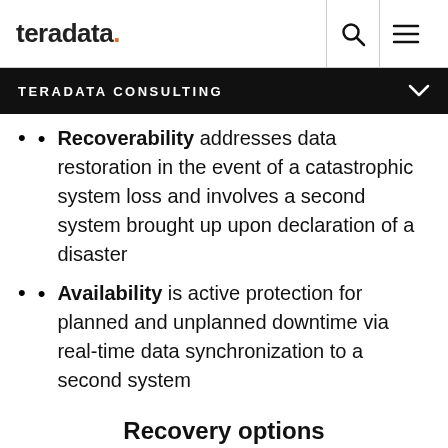teradata.
TERADATA CONSULTING
Recoverability addresses data restoration in the event of a catastrophic system loss and involves a second system brought up upon declaration of a disaster
Availability is active protection for planned and unplanned downtime via real-time data synchronization to a second system
Recovery options